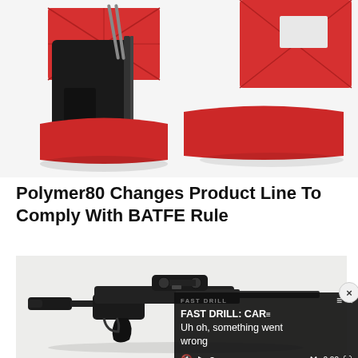[Figure (photo): Top portion of a product image showing a black pistol frame next to two red plastic jig/mold components on a white background]
Polymer80 Changes Product Line To Comply With BATFE Rule
[Figure (photo): A black AR-style pistol/rifle on a white background, with a video player overlay showing 'FAST DRILL: CAR' text and an error message 'Uh oh, something went wrong' with playback controls at 0:00]